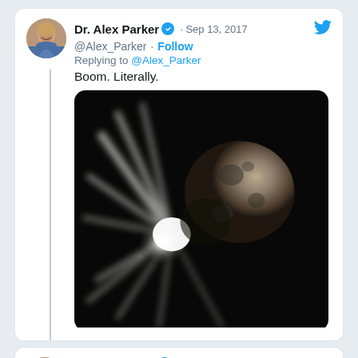Dr. Alex Parker @Alex_Parker · Sep 13, 2017 · Follow · Replying to @Alex_Parker
Boom. Literally.
[Figure (photo): Black and white image of a comet or asteroid with a bright explosion/impact flash emanating from its lower left side against a dark space background]
Dr. Alex Parker @Alex_Parker · Follow
So all I'm saying is, if you see a bird on Friday